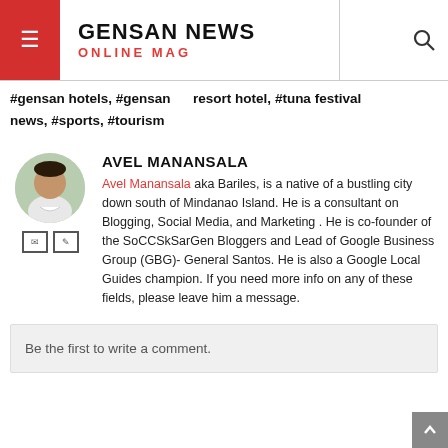GENSAN NEWS ONLINE MAG
#gensan hotels, #gensan  resort hotel, #tuna festival news, #sports, #tourism
AVEL MANANSALA
Avel Manansala aka Bariles, is a native of a bustling city down south of Mindanao Island. He is a consultant on Blogging, Social Media, and Marketing . He is co-founder of the SoCCSkSarGen Bloggers and Lead of Google Business Group (GBG)- General Santos. He is also a Google Local Guides champion. If you need more info on any of these fields, please leave him a message.
Be the first to write a comment.